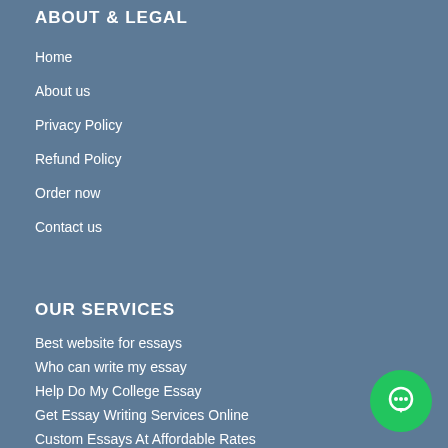ABOUT & LEGAL
Home
About us
Privacy Policy
Refund Policy
Order now
Contact us
OUR SERVICES
Best website for essays
Who can write my essay
Help Do My College Essay
Get Essay Writing Services Online
Custom Essays At Affordable Rates